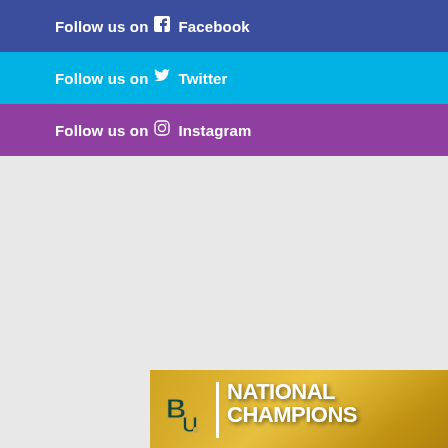Follow us on Facebook
Follow us on Twitter
Follow us on Instagram
[Figure (photo): Fanatics ad for Baylor University National Champions merchandise — shows CHAMPS branded dark apparel (jersey, long-sleeve shirt, hoodie) and a white hat on gold background with BU logo. SHOP NOW button visible at bottom right. Fanatics logo at bottom left.]